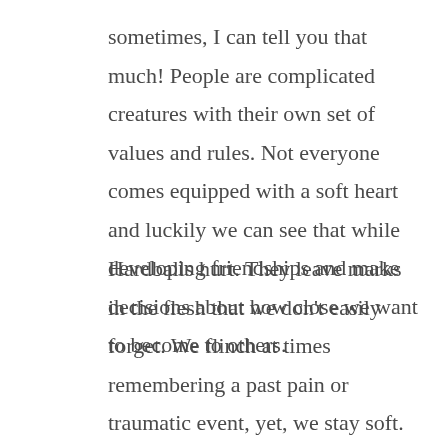sometimes, I can tell you that much! People are complicated creatures with their own set of values and rules. Not everyone comes equipped with a soft heart and luckily we can see that while developing friendships and make decisions about how close we want to become to others.
Hardballs hurt. They leave marks in the flesh that we don't easily forget. We flinch at times remembering a past pain or traumatic event, yet, we stay soft. We stay resilient.